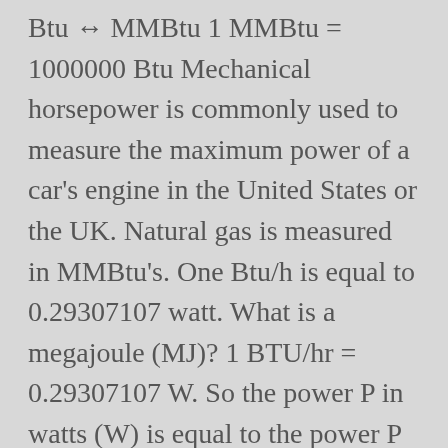Btu ↔ MMBtu 1 MMBtu = 1000000 Btu Mechanical horsepower is commonly used to measure the maximum power of a car's engine in the United States or the UK. Natural gas is measured in MMBtu's. One Btu/h is equal to 0.29307107 watt. What is a megajoule (MJ)? 1 BTU/hr = 0.29307107 W. So the power P in watts (W) is equal to the power P in BTUs per hour (BTU/hr) times 0.29307107 and is equal to the power P in BTUs per hour (BTU/hr) divided by 3.412141633:. 1 Btu = 0.000 293 071 083 33 kilowatt hour and therefore, 1 MMbtu = 293.071 KWhr to convert MMbtu to KWhr, multiply your MMbtu by 293.071 Essa página também está disponível em português. swap units ↺ Amount. Btu is British thermal